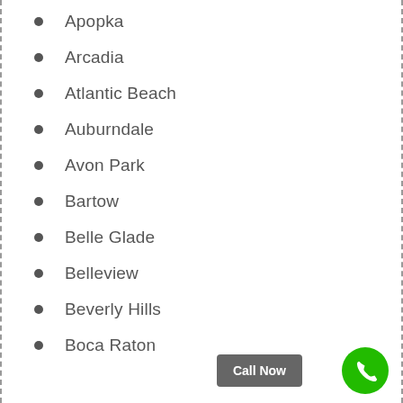Apopka
Arcadia
Atlantic Beach
Auburndale
Avon Park
Bartow
Belle Glade
Belleview
Beverly Hills
Boca Raton